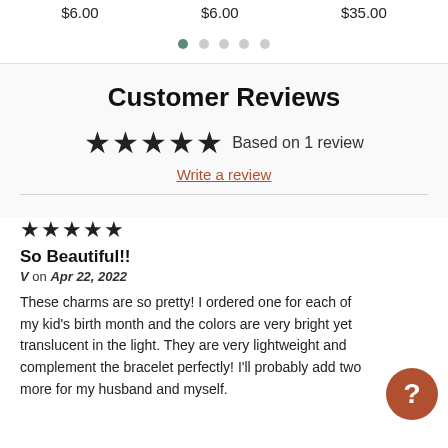$6.00   $6.00   $35.00
[Figure (other): Pagination dots: one active (dark teal), four inactive (gray)]
Customer Reviews
★★★★★ Based on 1 review
Write a review
★★★★★
So Beautiful!!
V on Apr 22, 2022
These charms are so pretty! I ordered one for each of my kid's birth month and the colors are very bright yet translucent in the light. They are very lightweight and complement the bracelet perfectly! I'll probably add two more for my husband and myself.
[Figure (other): Help/chat button: round terracotta circle with white question mark]